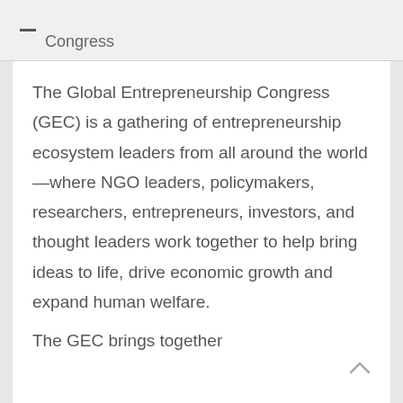Congress
The Global Entrepreneurship Congress (GEC) is a gathering of entrepreneurship ecosystem leaders from all around the world—where NGO leaders, policymakers, researchers, entrepreneurs, investors, and thought leaders work together to help bring ideas to life, drive economic growth and expand human welfare.
The GEC brings together